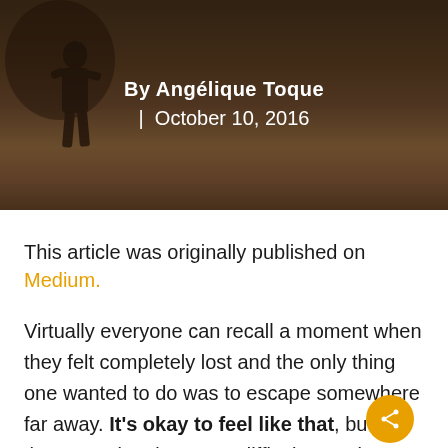[Figure (photo): Hero image with dark atmospheric background showing a silhouetted figure, overlaid with author name and date]
By Angélique Toque | October 10, 2016
This article was originally published on Medium.
Virtually everyone can recall a moment when they felt completely lost and the only thing one wanted to do was to escape somewhere far away. It's okay to feel like that, but at the same time it's super difficult to make